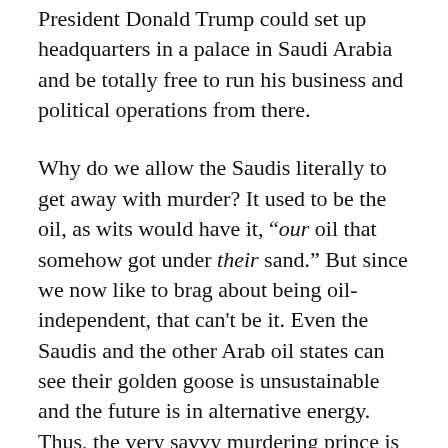President Donald Trump could set up headquarters in a palace in Saudi Arabia and be totally free to run his business and political operations from there.
Why do we allow the Saudis literally to get away with murder? It used to be the oil, as wits would have it, "our oil that somehow got under their sand." But since we now like to brag about being oil-independent, that can't be it. Even the Saudis and the other Arab oil states can see their golden goose is unsustainable and the future is in alternative energy. Thus, the very savvy murdering prince is  desperate to diversify the Saudi's vast wealth. This suggests, if it's no longer oil, it's that the Saudis want world power and to be part of the world's globalized plutocracy. So, they're still untouchable.
Israel, of course, is the ultimate hands-off Middle Eastern ally. Prime Minister Netanyahu and his far-right Likud Party have become part of the global plutocracy. The